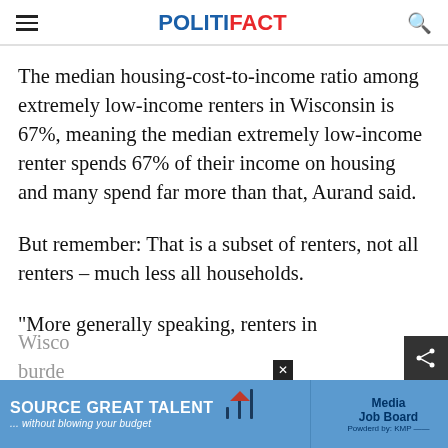POLITIFACT
The median housing-cost-to-income ratio among extremely low-income renters in Wisconsin is 67%, meaning the median extremely low-income renter spends 67% of their income on housing and many spend far more than that, Aurand said.
But remember: That is a subset of renters, not all renters – much less all households.
"More generally speaking, renters in Wisconsin... burde...